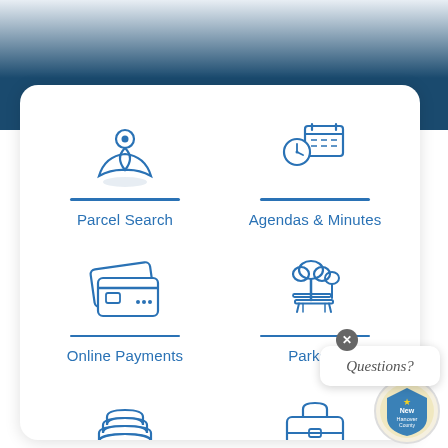[Figure (screenshot): Government website screenshot showing a navigation card with icons for Parcel Search, Agendas & Minutes, Online Payments, Parks & Recreation, and other services. A 'Questions?' chat bubble overlay is visible in the bottom right.]
Parcel Search
Agendas & Minutes
Online Payments
Parks &
Questions?